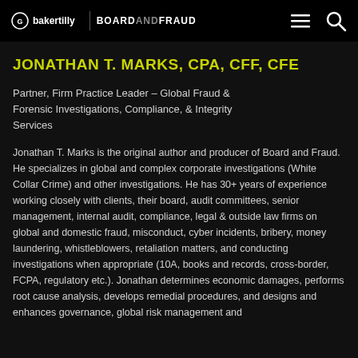bakertilly | BOARDANDFRAUD
JONATHAN T. MARKS, CPA, CFF, CFE
Partner, Firm Practice Leader – Global Fraud & Forensic Investigations, Compliance, & Integrity Services
Jonathan T. Marks is the original author and producer of Board and Fraud. He specializes in global and complex corporate investigations (White Collar Crime) and other investigations. He has 30+ years of experience working closely with clients, their board, audit committees, senior management, internal audit, compliance, legal & outside law firms on global and domestic fraud, misconduct, cyber incidents, bribery, money laundering, whistleblowers, retaliation matters, and conducting investigations when appropriate (10A, books and records, cross-border, FCPA, regulatory etc.). Jonathan determines economic damages, performs root cause analysis, develops remedial procedures, and designs and enhances governance, global risk management and